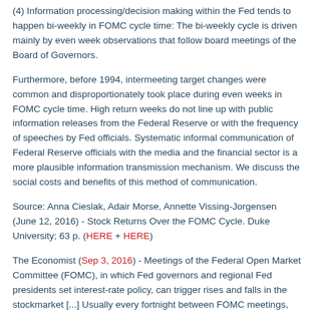(4) Information processing/decision making within the Fed tends to happen bi-weekly in FOMC cycle time: The bi-weekly cycle is driven mainly by even week observations that follow board meetings of the Board of Governors.
Furthermore, before 1994, intermeeting target changes were common and disproportionately took place during even weeks in FOMC cycle time. High return weeks do not line up with public information releases from the Federal Reserve or with the frequency of speeches by Fed officials. Systematic informal communication of Federal Reserve officials with the media and the financial sector is a more plausible information transmission mechanism. We discuss the social costs and benefits of this method of communication.
Source: Anna Cieslak, Adair Morse, Annette Vissing-Jorgensen (June 12, 2016) - Stock Returns Over the FOMC Cycle. Duke University; 63 p. (HERE + HERE)
The Economist (Sep 3, 2016) - Meetings of the Federal Open Market Committee (FOMC), in which Fed governors and regional Fed presidents set interest-rate policy, can trigger rises and falls in the stockmarket [...] Usually every fortnight between FOMC meetings, fresh information is